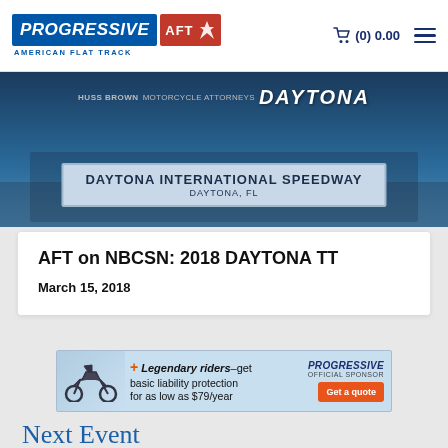Progressive American Flat Track — (0) 0.00
[Figure (photo): Hero image showing Daytona International Speedway event banner with DAYTONA text and a location badge reading DAYTONA INTERNATIONAL SPEEDWAY, DAYTONA, FL]
AFT on NBCSN: 2018 DAYTONA TT
March 15, 2018
[Figure (infographic): Progressive insurance advertisement banner: Legendary riders—get basic liability protection for as low as $79/year. Get a quote button. Progressive Official Sponsor logo.]
Next Event
BUY TICKETS
NEXT EVENT - DOUBLEHEADER